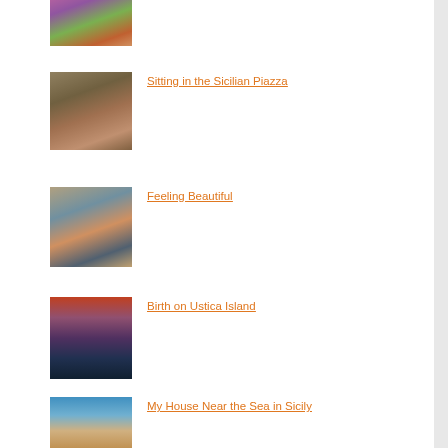[Figure (photo): Partial view of a building with purple/pink flowering plants, top of page]
[Figure (photo): Street scene in a Sicilian piazza with a horse-drawn cart and people]
Sitting in the Sicilian Piazza
[Figure (photo): People on horseback, a woman in foreground walking with horses]
Feeling Beautiful
[Figure (photo): Sunset over water near Ustica Island with dark silhouetted hills]
Birth on Ustica Island
[Figure (photo): Beach scene with a person holding a phone/book over the sand and sea]
My House Near the Sea in Sicily